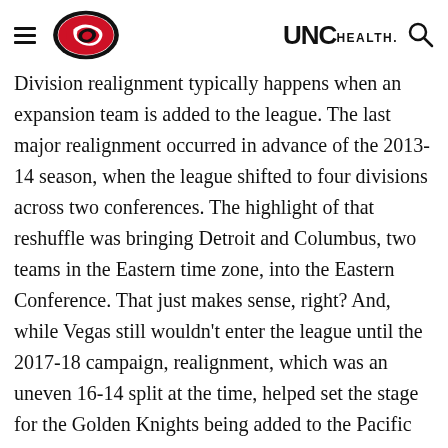[Carolina Hurricanes logo] [UNC Health logo] [Search icon]
Division realignment typically happens when an expansion team is added to the league. The last major realignment occurred in advance of the 2013-14 season, when the league shifted to four divisions across two conferences. The highlight of that reshuffle was bringing Detroit and Columbus, two teams in the Eastern time zone, into the Eastern Conference. That just makes sense, right? And, while Vegas still wouldn't enter the league until the 2017-18 campaign, realignment, which was an uneven 16-14 split at the time, helped set the stage for the Golden Knights being added to the Pacific Division.